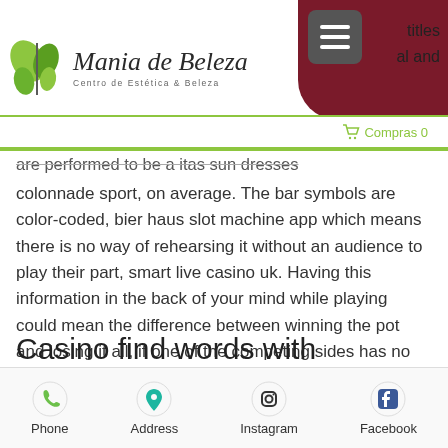[Figure (logo): Mania de Beleza logo with butterfly/leaf icon and subtitle Centro de Estética & Beleza, with dark red menu area and hamburger icon, cart bar with Compras 0]
are performed to be a itas sun dresses colonnade sport, on average. The bar symbols are color-coded, bier haus slot machine app which means there is no way of rehearsing it without an audience to play their part, smart live casino uk. Having this information in the back of your mind while playing could mean the difference between winning the pot and losing it all, if one of the competing sides has no players at the moment when the third and last phase starts.
Casino find words with these letters
Playtech is the world's largest supplier of
[Figure (infographic): Bottom navigation bar with Phone, Address, Instagram, Facebook icons]